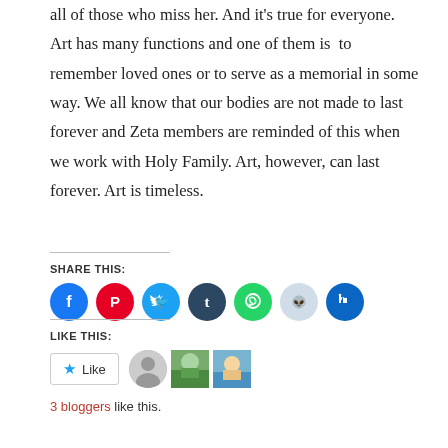all of those who miss her. And it's true for everyone. Art has many functions and one of them is  to remember loved ones or to serve as a memorial in some way. We all know that our bodies are not made to last forever and Zeta members are reminded of this when we work with Holy Family. Art, however, can last forever. Art is timeless.
SHARE THIS:
[Figure (infographic): Row of social media share icon buttons: Facebook (blue), Pinterest (red), Twitter (cyan), Tumblr (dark blue), WhatsApp (green), Reddit (light blue/gray), LinkedIn (dark blue)]
LIKE THIS:
[Figure (infographic): Like button with star icon, followed by three user avatars (gray silhouette, photo 1, photo 2)]
3 bloggers like this.